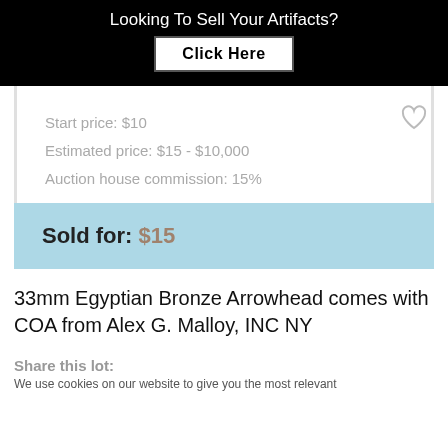Looking To Sell Your Artifacts?
Click Here
Start price: $10
Estimated price: $15 - $10,000
Auction house commission: 15%
Sold for: $15
33mm Egyptian Bronze Arrowhead comes with COA from Alex G. Malloy, INC NY
Share this lot:
We use cookies on our website to give you the most relevant